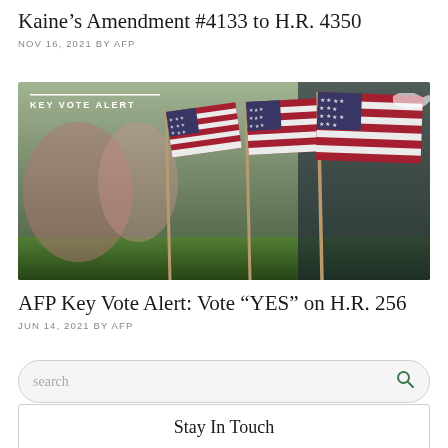Kaine's Amendment #4133 to H.R. 4350
NOV 16, 2021 BY AFP
[Figure (photo): Row of small American flags planted in green grass, blurred background. Overlay text reads 'KEY VOTE ALERT' with a USA map outline icon in the top right corner.]
AFP Key Vote Alert: Vote “YES” on H.R. 256
JUN 14, 2021 BY AFP
search
Stay In Touch